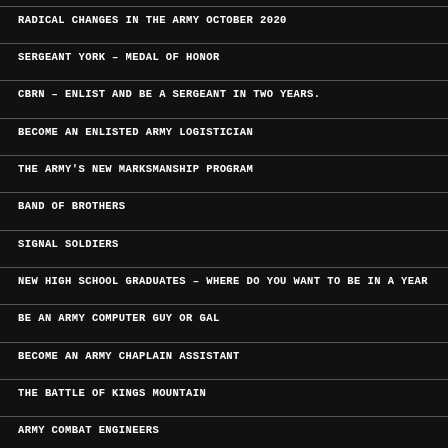RADICAL CHANGES IN THE ARMY OCTOBER 2020
SERGEANT YORK – MEDAL OF HONOR
CBRN – ENLIST AND BE A SERGEANT IN TWO YEARS.
BECOME AN ENLISTED ARMY LOGISTICIAN
THE ARMY'S NEW MARKSMANSHIP PROGRAM
BAND OF BROTHERS
SIGNAL SOLDIERS
NEW HIGH SCHOOL GRADUATES – WHERE DO YOU WANT TO BE IN A YEAR
BE AN ARMY COMPUTER GUY OR GAL
BECOME AN ARMY CHAPLAIN ASSISTANT
THE BATTLE OF KINGS MOUNTAIN
ARMY COMBAT ENGINEERS